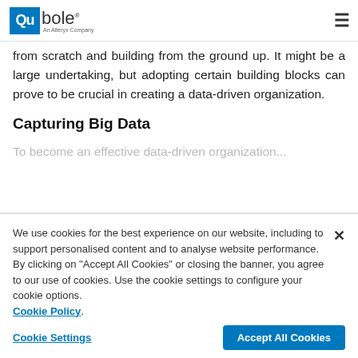Qubole — An Alteryx Company [logo] [hamburger menu]
from scratch and building from the ground up. It might be a large undertaking, but adopting certain building blocks can prove to be crucial in creating a data-driven organization.
Capturing Big Data
To become an effective data-driven organization...
We use cookies for the best experience on our website, including to support personalised content and to analyse website performance. By clicking on “Accept All Cookies” or closing the banner, you agree to our use of cookies. Use the cookie settings to configure your cookie options. Cookie Policy.
Cookie Settings | Accept All Cookies